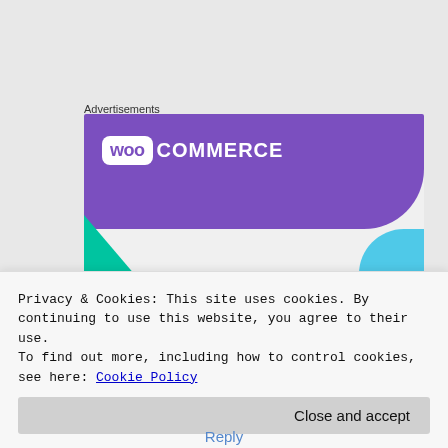Advertisements
[Figure (illustration): WooCommerce advertisement banner showing the WooCommerce logo on a purple background, teal triangle shape on left, blue curved shape on right, with headline 'How to start selling subscriptions online' and an author name bar at bottom]
Privacy & Cookies: This site uses cookies. By continuing to use this website, you agree to their use.
To find out more, including how to control cookies, see here: Cookie Policy
Close and accept
Reply